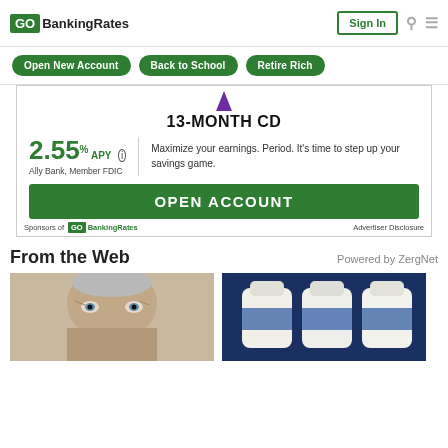GOBankingRates | Sign In
Open New Account
Back to School
Retire Rich
[Figure (screenshot): Advertisement for Ally Bank 13-Month CD with 2.55% APY. Shows green rate number, 'Ally Bank, Member FDIC' text, 'Maximize your earnings. Period. It's time to step up your savings game.' and green OPEN ACCOUNT button. Footer reads 'Sponsors of GOBankingRates' and 'Advertiser Disclosure'.]
From the Web
Powered by ZergNet
[Figure (photo): Close-up photo of an elderly man's face, gray hair, light blue eyes]
[Figure (photo): Photo of white plastic jugs/containers, possibly milk jugs, on dark blue background]